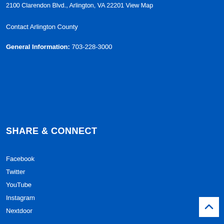2100 Clarendon Blvd., Arlington, VA 22201 View Map
Contact Arlington County
General Information: 703-228-3000
SHARE & CONNECT
Facebook
Twitter
YouTube
Instagram
Nextdoor